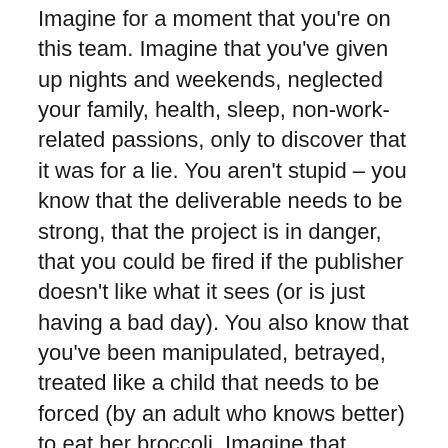Imagine for a moment that you're on this team. Imagine that you've given up nights and weekends, neglected your family, health, sleep, non-work-related passions, only to discover that it was for a lie. You aren't stupid – you know that the deliverable needs to be strong, that the project is in danger, that you could be fired if the publisher doesn't like what it sees (or is just having a bad day). You also know that you've been manipulated, betrayed, treated like a child that needs to be forced (by an adult who knows better) to eat her broccoli. Imagine that you've lived this hell for months, the manager using increasingly inventive ways to deceive the team. What would you do?
In the end, the team revolted and voted him off the island. He wasn't fired, but he went from directing a product team to being a regular designer, and was never entrusted with management authority again. The team named the fake